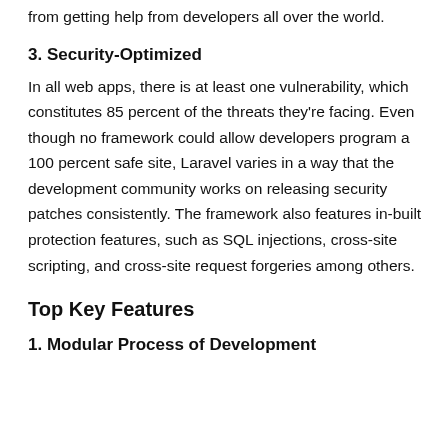from getting help from developers all over the world.
3. Security-Optimized
In all web apps, there is at least one vulnerability, which constitutes 85 percent of the threats they're facing. Even though no framework could allow developers program a 100 percent safe site, Laravel varies in a way that the development community works on releasing security patches consistently. The framework also features in-built protection features, such as SQL injections, cross-site scripting, and cross-site request forgeries among others.
Top Key Features
1. Modular Process of Development